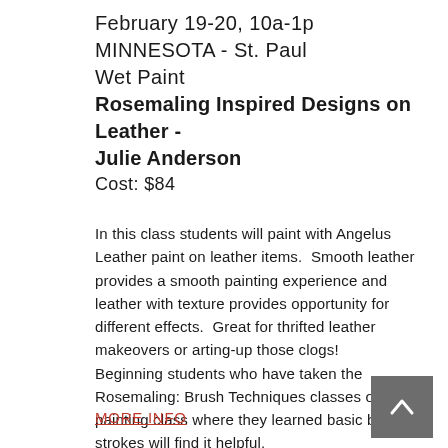February 19-20, 10a-1p
MINNESOTA - St. Paul
Wet Paint
Rosemaling Inspired Designs on Leather - Julie Anderson
Cost: $84
In this class students will paint with Angelus Leather paint on leather items.  Smooth leather provides a smooth painting experience and leather with texture provides opportunity for different effects.  Great for thrifted leather makeovers or arting-up those clogs!
Beginning students who have taken the Rosemaling: Brush Techniques classes or other painting class where they learned basic brush strokes will find it helpful.
MORE INFO